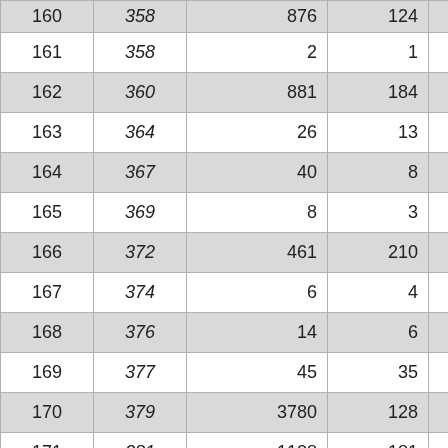| 160 | 358 | 876 | 124 | 8.48 |
| 161 | 358 | 2 | 1 | 2.00 |
| 162 | 360 | 881 | 184 | 4.79 |
| 163 | 364 | 26 | 13 | 2.00 |
| 164 | 367 | 40 | 8 | 5.00 |
| 165 | 369 | 8 | 3 | 2.67 |
| 166 | 372 | 461 | 210 | 2.20 |
| 167 | 374 | 6 | 4 | 1.50 |
| 168 | 376 | 14 | 6 | 2.33 |
| 169 | 377 | 45 | 35 | 1.29 |
| 170 | 379 | 3780 | 128 | 29.53 |
| 171 | 381 | 1108 | 181 | 6.12 |